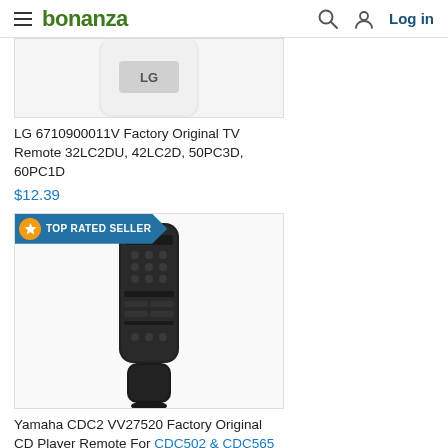bonanza | Log in
[Figure (photo): Partial view of LG TV remote control, white/silver device with LG logo, cropped at top]
LG 6710900011V Factory Original TV Remote 32LC2DU, 42LC2D, 50PC3D, 60PC1D
$12.39
[Figure (photo): Yamaha CDC2 VV27520 CD Player remote control, black elongated remote with multiple buttons, with TOP RATED SELLER badge]
Yamaha CDC2 VV27520 Factory Original CD Player Remote For CDC502 & CDC565